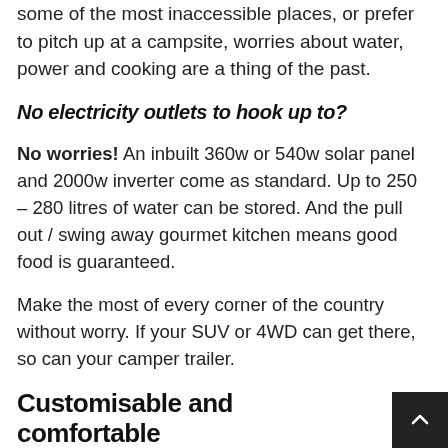some of the most inaccessible places, or prefer to pitch up at a campsite, worries about water, power and cooking are a thing of the past.
No electricity outlets to hook up to?
No worries! An inbuilt 360w or 540w solar panel and 2000w inverter come as standard. Up to 250 – 280 litres of water can be stored. And the pull out / swing away gourmet kitchen means good food is guaranteed.
Make the most of every corner of the country without worry. If your SUV or 4WD can get there, so can your camper trailer.
Customisable and comfortable